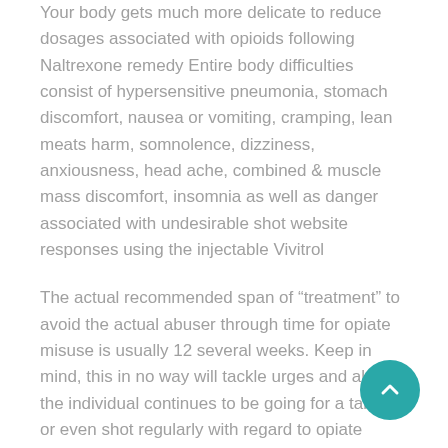Your body gets much more delicate to reduce dosages associated with opioids following Naltrexone remedy Entire body difficulties consist of hypersensitive pneumonia, stomach discomfort, nausea or vomiting, cramping, lean meats harm, somnolence, dizziness, anxiousness, head ache, combined & muscle mass discomfort, insomnia as well as danger associated with undesirable shot website responses using the injectable Vivitrol
The actual recommended span of “treatment” to avoid the actual abuser through time for opiate misuse is usually 12 several weeks. Keep in mind, this in no way will tackle urges and also the individual continues to be going for a tablet or even shot regularly with regard to opiate dependancy.